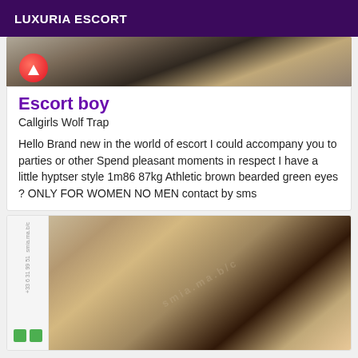LUXURIA ESCORT
[Figure (photo): Top partial photo showing a person lying down with a pink circular element visible, dark background with decorative pattern]
Escort boy
Callgirls Wolf Trap
Hello Brand new in the world of escort I could accompany you to parties or other Spend pleasant moments in respect I have a little hyptser style 1m86 87kg Athletic brown bearded green eyes ? ONLY FOR WOMEN NO MEN contact by sms
[Figure (photo): Photo of a dark-skinned woman with black hair, wearing bangles, holding white decorative hair accessories, against a beige background]